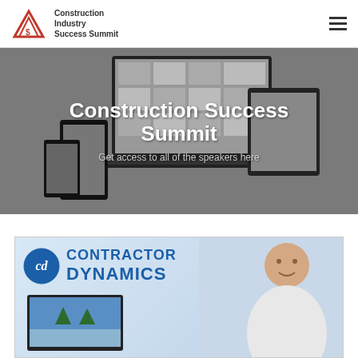[Figure (logo): Construction Industry Success Summit logo with mountain/roof graphic and dollar sign]
Construction Success Summit
Get access to all of the speakers here
[Figure (screenshot): Contractor Dynamics banner with logo, person photo, and device mockup]